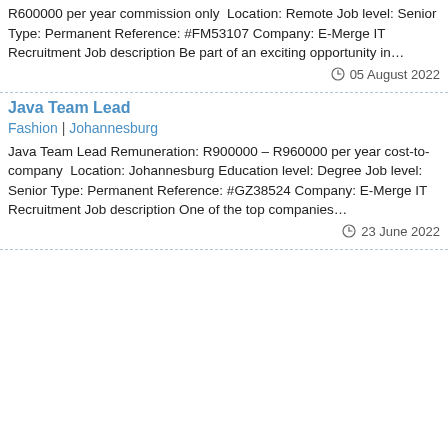R600000 per year commission only  Location: Remote Job level: Senior Type: Permanent Reference: #FM53107 Company: E-Merge IT Recruitment Job description Be part of an exciting opportunity in…
05 August 2022
Java Team Lead
Fashion | Johannesburg
Java Team Lead Remuneration: R900000 – R960000 per year cost-to-company  Location: Johannesburg Education level: Degree Job level: Senior Type: Permanent Reference: #GZ38524 Company: E-Merge IT Recruitment Job description One of the top companies…
23 June 2022